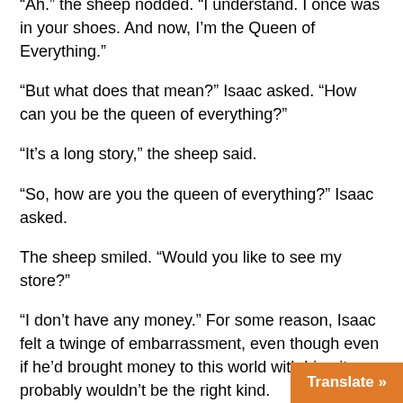“Ah.” the sheep nodded. “I understand. I once was in your shoes. And now, I’m the Queen of Everything.”
“But what does that mean?” Isaac asked. “How can you be the queen of everything?”
“It’s a long story,” the sheep said.
“So, how are you the queen of everything?” Isaac asked.
The sheep smiled. “Would you like to see my store?”
“I don’t have any money.” For some reason, Isaac felt a twinge of embarrassment, even though even if he’d brought money to this world with him, it probably wouldn’t be the right kind.
“Oh, I wouldn’t sell you anything,” the sheep said. “If I sold something, then I wouldn’t have it a